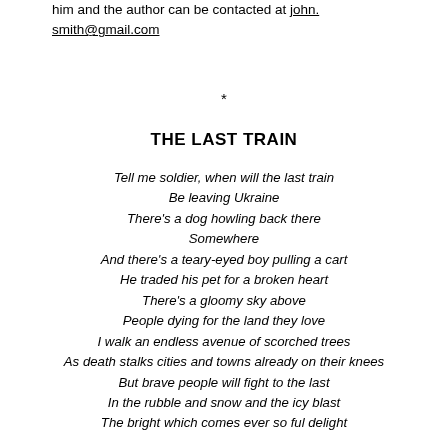him and the author can be contacted at john.smith@gmail.com
*
THE LAST TRAIN
Tell me soldier, when will the last train
Be leaving Ukraine
There's a dog howling back there
Somewhere
And there's a teary-eyed boy pulling a cart
He traded his pet for a broken heart
There's a gloomy sky above
People dying for the land they love
I walk an endless avenue of scorched trees
As death stalks cities and towns already on their knees
But brave people will fight to the last
In the rubble and snow and the icy blast
The bright which comes ever so ful delight